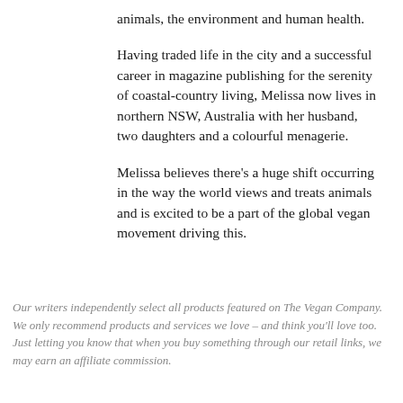animals, the environment and human health.
Having traded life in the city and a successful career in magazine publishing for the serenity of coastal-country living, Melissa now lives in northern NSW, Australia with her husband, two daughters and a colourful menagerie.
Melissa believes there's a huge shift occurring in the way the world views and treats animals and is excited to be a part of the global vegan movement driving this.
Our writers independently select all products featured on The Vegan Company. We only recommend products and services we love – and think you'll love too. Just letting you know that when you buy something through our retail links, we may earn an affiliate commission.